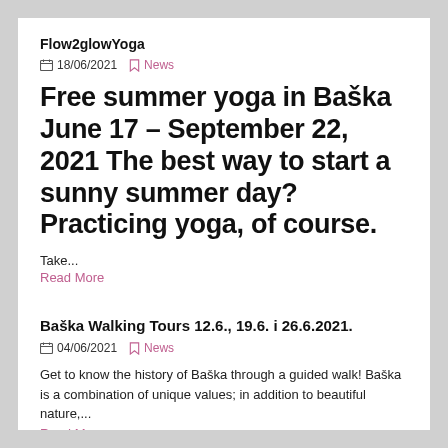Flow2glowYoga
18/06/2021   News
Free summer yoga in Baška June 17 – September 22, 2021 The best way to start a sunny summer day? Practicing yoga, of course.
Take...
Read More
Baška Walking Tours 12.6., 19.6. i 26.6.2021.
04/06/2021   News
Get to know the history of Baška through a guided walk! Baška is a combination of unique values; in addition to beautiful nature,...
Read More